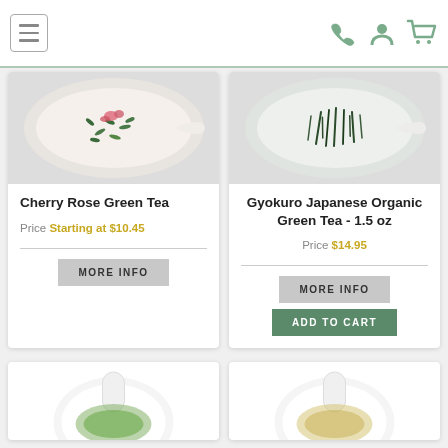Navigation header with menu icon, phone, account, and cart icons
[Figure (photo): Cherry Rose Green Tea product image - spoon with green tea leaves and rose petals on white background]
Cherry Rose Green Tea
Price Starting at $10.45
[Figure (screenshot): MORE INFO button]
[Figure (photo): Gyokuro Japanese Organic Green Tea product image - spoon with dark green tea leaves on white background]
Gyokuro Japanese Organic Green Tea - 1.5 oz
Price $14.95
[Figure (screenshot): MORE INFO button and ADD TO CART button]
[Figure (photo): Bottom left product partial image - white teapot with green tea in cup]
[Figure (photo): Bottom right product partial image - white teapot with light tea in cup]